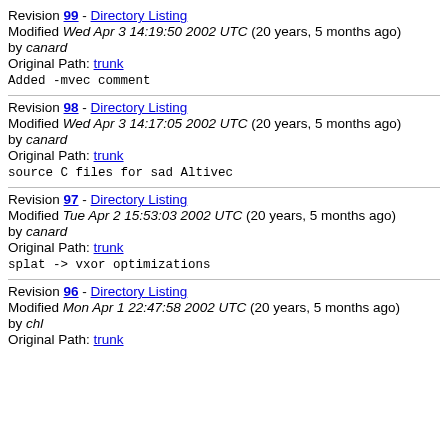Revision 99 - Directory Listing
Modified Wed Apr 3 14:19:50 2002 UTC (20 years, 5 months ago)
by canard
Original Path: trunk
Added -mvec comment
Revision 98 - Directory Listing
Modified Wed Apr 3 14:17:05 2002 UTC (20 years, 5 months ago)
by canard
Original Path: trunk
source C files for sad Altivec
Revision 97 - Directory Listing
Modified Tue Apr 2 15:53:03 2002 UTC (20 years, 5 months ago)
by canard
Original Path: trunk
splat -> vxor optimizations
Revision 96 - Directory Listing
Modified Mon Apr 1 22:47:58 2002 UTC (20 years, 5 months ago)
by chl
Original Path: trunk